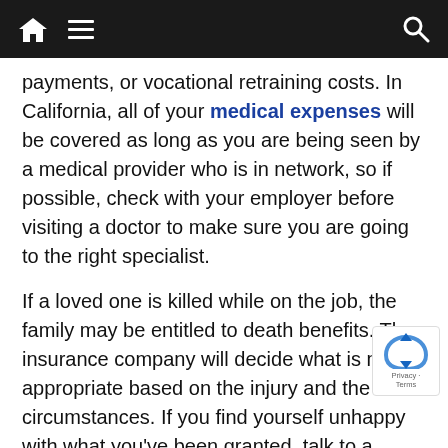Navigation bar with home icon, hamburger menu, and search icon
payments, or vocational retraining costs. In California, all of your medical expenses will be covered as long as you are being seen by a medical provider who is in network, so if possible, check with your employer before visiting a doctor to make sure you are going to the right specialist.
If a loved one is killed while on the job, the family may be entitled to death benefits. The insurance company will decide what is most appropriate based on the injury and the circumstances. If you find yourself unhappy with what you've been granted, talk to a workers compensation lawyer and see if there is anything more that can be done.
Ultimately, in the state of California, you are not